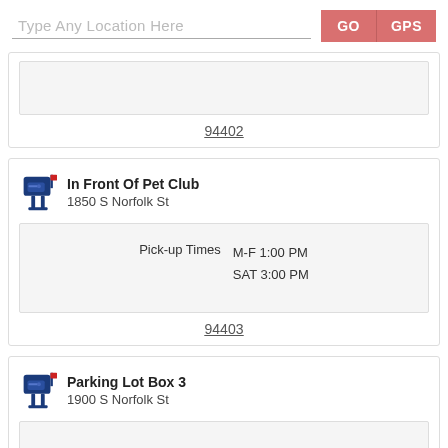Type Any Location Here
GO
GPS
94402
In Front Of Pet Club
1850 S Norfolk St
Pick-up Times   M-F 1:00 PM   SAT 3:00 PM
94403
Parking Lot Box 3
1900 S Norfolk St